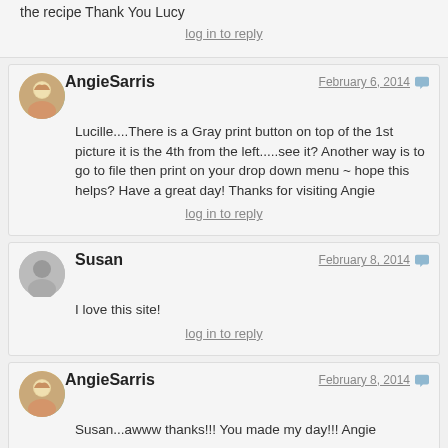the recipe Thank You Lucy
log in to reply
AngieSarris — February 6, 2014
Lucille....There is a Gray print button on top of the 1st picture it is the 4th from the left.....see it? Another way is to go to file then print on your drop down menu ~ hope this helps? Have a great day! Thanks for visiting Angie
log in to reply
Susan — February 8, 2014
I love this site!
log in to reply
AngieSarris — February 8, 2014
Susan...awww thanks!!! You made my day!!! Angie
log in to reply
Valerie Smith — February 15, 2014
Maybe I rolled the biscuits out thinner, but had quite a